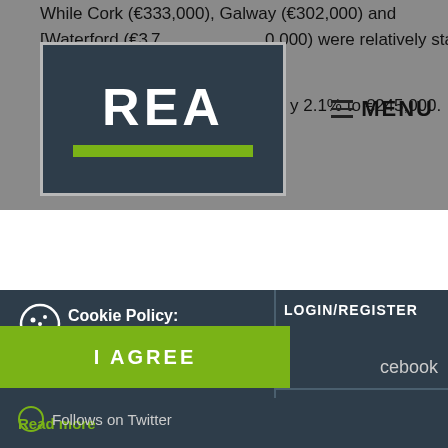While Cork (€333,000), Galway (€302,000) and [Waterford] (€[37]0,000) were relatively static, prices in [Limerick] fell by 2.1% to €245,000.
[Figure (logo): REA logo — dark navy box with bold white REA text and green horizontal bar below]
MENU
Cookie Policy: This site uses cookies to store information on your computer. Read more
LOGIN/REGISTER
I AGREE
cebook
Follows on Twitter